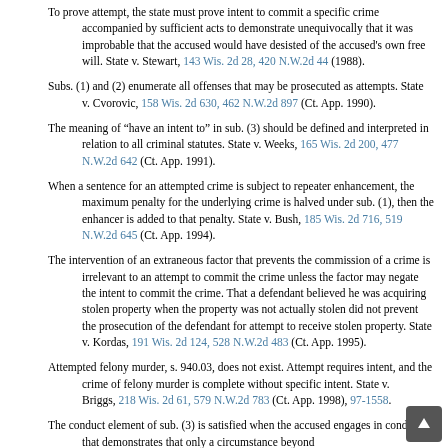To prove attempt, the state must prove intent to commit a specific crime accompanied by sufficient acts to demonstrate unequivocally that it was improbable that the accused would have desisted of the accused's own free will. State v. Stewart, 143 Wis. 2d 28, 420 N.W.2d 44 (1988).
Subs. (1) and (2) enumerate all offenses that may be prosecuted as attempts. State v. Cvorovic, 158 Wis. 2d 630, 462 N.W.2d 897 (Ct. App. 1990).
The meaning of “have an intent to” in sub. (3) should be defined and interpreted in relation to all criminal statutes. State v. Weeks, 165 Wis. 2d 200, 477 N.W.2d 642 (Ct. App. 1991).
When a sentence for an attempted crime is subject to repeater enhancement, the maximum penalty for the underlying crime is halved under sub. (1), then the enhancer is added to that penalty. State v. Bush, 185 Wis. 2d 716, 519 N.W.2d 645 (Ct. App. 1994).
The intervention of an extraneous factor that prevents the commission of a crime is irrelevant to an attempt to commit the crime unless the factor may negate the intent to commit the crime. That a defendant believed he was acquiring stolen property when the property was not actually stolen did not prevent the prosecution of the defendant for attempt to receive stolen property. State v. Kordas, 191 Wis. 2d 124, 528 N.W.2d 483 (Ct. App. 1995).
Attempted felony murder, s. 940.03, does not exist. Attempt requires intent, and the crime of felony murder is complete without specific intent. State v. Briggs, 218 Wis. 2d 61, 579 N.W.2d 783 (Ct. App. 1998), 97-1558.
The conduct element of sub. (3) is satisfied when the accused engages in conduct that demonstrates that only a circumstance beyond…